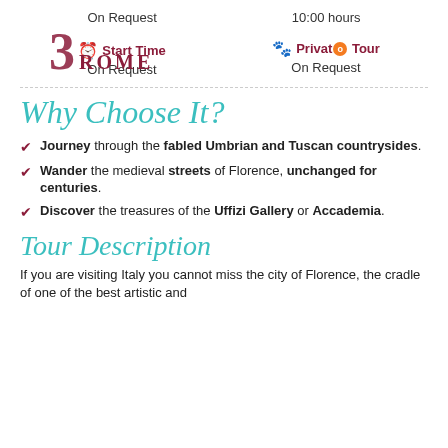On Request   10:00 hours
[Figure (logo): 3 Rome logo with stylized numeral 3 and ROME text in dark red]
Start Time
On Request
Private Tour
On Request
Why Choose It?
Journey through the fabled Umbrian and Tuscan countrysides.
Wander the medieval streets of Florence, unchanged for centuries.
Discover the treasures of the Uffizi Gallery or Accademia.
Tour Description
If you are visiting Italy you cannot miss the city of Florence, the cradle of one of the best artistic and